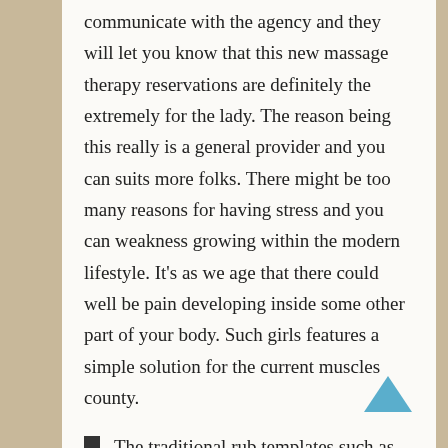communicate with the agency and they will let you know that this new massage therapy reservations are definitely the extremely for the lady. The reason being this really is a general provider and you can suits more folks. There might be too many reasons for having stress and you can weakness growing within the modern lifestyle. It's as we age that there could well be pain developing inside some other part of your body. Such girls features a simple solution for the current muscles county.
The traditional rub templates such as strong muscle really works and you will Swedish strokes are typically suitable for cater to the